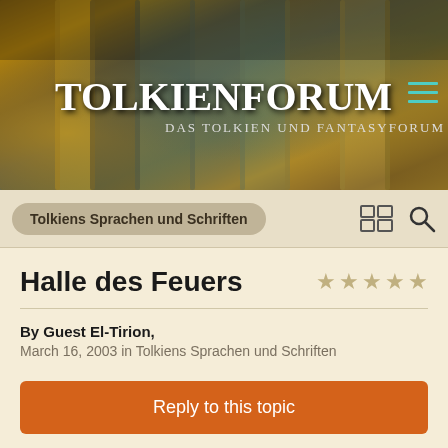[Figure (screenshot): Tolkienforum website header banner with fantasy artwork showing robes/cloaks in brown, gold, and teal tones. Logo reads 'TOLKIENFORUM' with subtitle 'Das Tolkien und Fantasyforum'. Hamburger menu icon in teal at top right.]
Tolkiens Sprachen und Schriften
Halle des Feuers
By Guest El-Tirion,
March 16, 2003 in Tolkiens Sprachen und Schriften
Reply to this topic